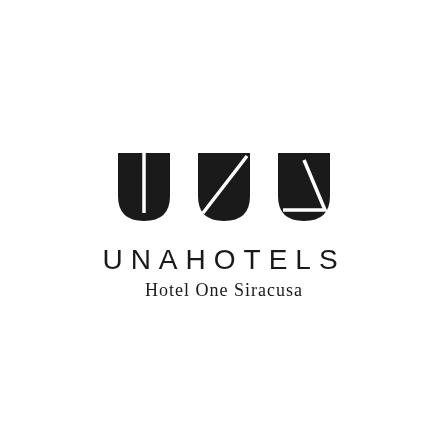[Figure (logo): UNAHOTELS logo with three shield icons above the text 'UNAHOTELS' and subtitle 'Hotel One Siracusa']
UNAHOTELS
Hotel One Siracusa